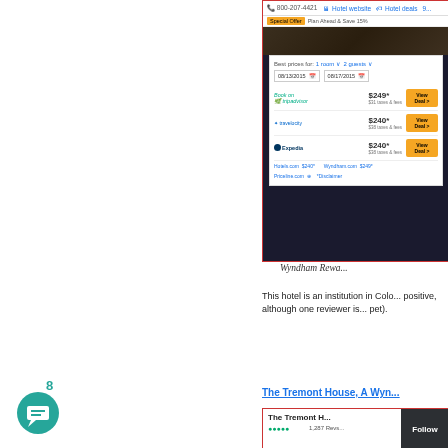[Figure (screenshot): Screenshot of a hotel booking comparison widget showing prices from TripAdvisor ($249), Travelocity ($240), and Expedia ($240) with 'View Deal' buttons, dates 08/13/2015–08/17/2015, 1 room, 2 guests. Also shows Hotels.com at $240, Wyndham.com at $249.]
Wyndham Rewa...
This hotel is an institution in Colo... positive, although one reviewer is... pet).
8
[Figure (illustration): Teal circular chat/comment icon with number 8 above it]
The Tremont House, A Wyn...
[Figure (screenshot): Hotel card showing The Tremont House with star ratings and 1,287 reviews, with a dark Follow button overlay]